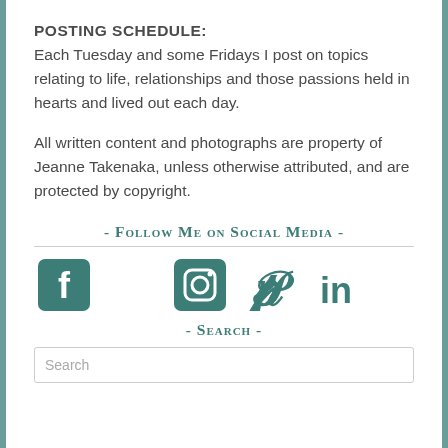POSTING SCHEDULE:
Each Tuesday and some Fridays I post on topics relating to life, relationships and those passions held in hearts and lived out each day.
All written content and photographs are property of Jeanne Takenaka, unless otherwise attributed, and are protected by copyright.
- Follow Me on Social Media -
[Figure (infographic): Row of five social media icons: Facebook (square icon), Twitter (bird icon), Instagram (camera icon), Pinterest (P icon), LinkedIn (in text icon), all in teal color]
- Search -
Search